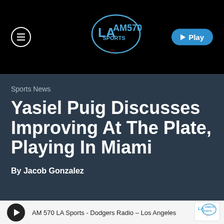[Figure (logo): LA AM570 Sports radio logo with iHeart icon, centered in black header bar]
Sports News
Yasiel Puig Discusses Improving At The Plate, Playing In Miami
By Jacob Gonzalez
AM 570 LA Sports - Dodgers Radio – Los Angeles